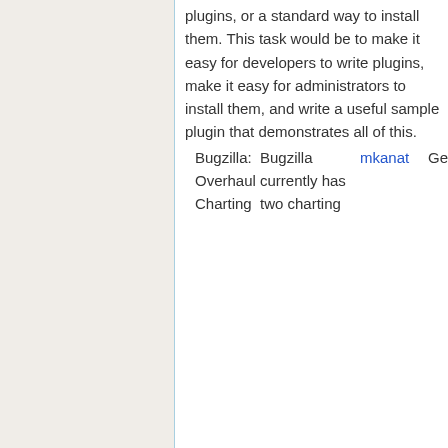plugins, or a standard way to install them. This task would be to make it easy for developers to write plugins, make it easy for administrators to install them, and write a useful sample plugin that demonstrates all of this.
Bugzilla: Overhaul Charting   Bugzilla currently has two charting   mkanat   Gen